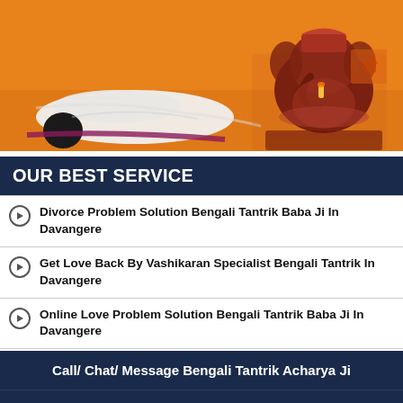[Figure (photo): Orange background image showing a person bowing/prostrating before a Ganesha idol statue on the right side]
OUR BEST SERVICE
Divorce Problem Solution Bengali Tantrik Baba Ji In Davangere
Get Love Back By Vashikaran Specialist Bengali Tantrik In Davangere
Online Love Problem Solution Bengali Tantrik Baba Ji In Davangere
Call/ Chat/ Message Bengali Tantrik Acharya Ji
[Figure (infographic): Dark blue icon bar with phone icon, WhatsApp icon, share icon, and green circle icon]